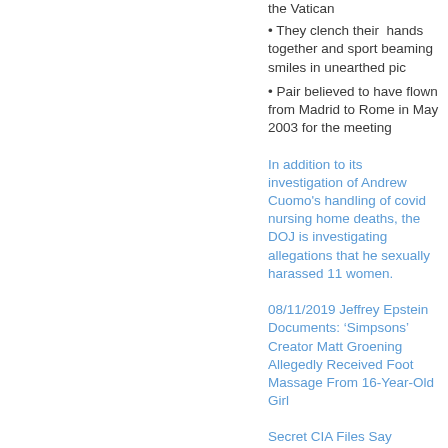the Vatican
They clench their hands together and sport beaming smiles in unearthed pic
Pair believed to have flown from Madrid to Rome in May 2003 for the meeting
In addition to its investigation of Andrew Cuomo's handling of covid nursing home deaths, the DOJ is investigating allegations that he sexually harassed 11 women.
08/11/2019 Jeffrey Epstein Documents: 'Simpsons' Creator Matt Groening Allegedly Received Foot Massage From 16-Year-Old Girl
Secret CIA Files Say Staffers